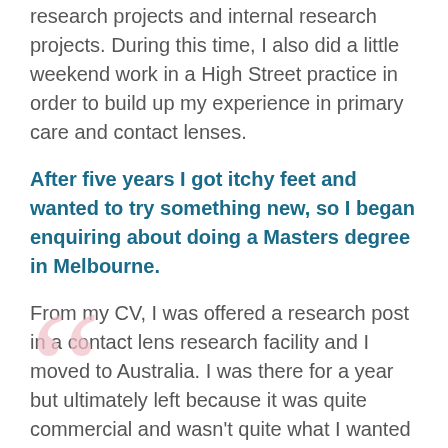research projects and internal research projects. During this time, I also did a little weekend work in a High Street practice in order to build up my experience in primary care and contact lenses.
After five years I got itchy feet and wanted to try something new, so I began enquiring about doing a Masters degree in Melbourne.
From my CV, I was offered a research post in a contact lens research facility and I moved to Australia. I was there for a year but ultimately left because it was quite commercial and wasn't quite what I wanted to do.